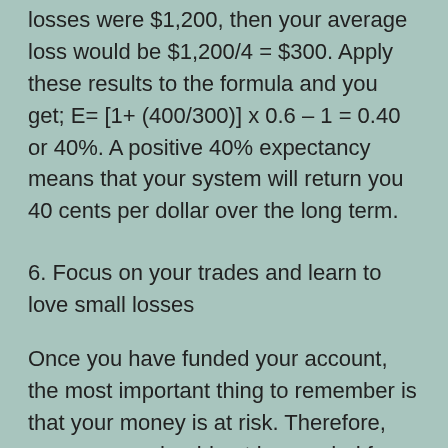losses were $1,200, then your average loss would be $1,200/4 = $300. Apply these results to the formula and you get; E= [1+ (400/300)] x 0.6 – 1 = 0.40 or 40%. A positive 40% expectancy means that your system will return you 40 cents per dollar over the long term.
6. Focus on your trades and learn to love small losses
Once you have funded your account, the most important thing to remember is that your money is at risk. Therefore, your money should not be needed for living or to pay bills etc. Consider your trading money as if it were